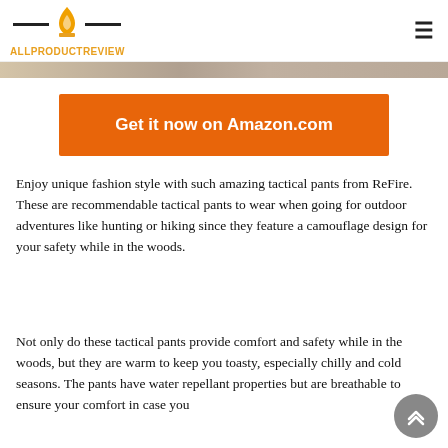ALLPRODUCTREVIEW
[Figure (photo): Partial product image strip at top of page]
Get it now on Amazon.com
Enjoy unique fashion style with such amazing tactical pants from ReFire. These are recommendable tactical pants to wear when going for outdoor adventures like hunting or hiking since they feature a camouflage design for your safety while in the woods.
Not only do these tactical pants provide comfort and safety while in the woods, but they are warm to keep you toasty, especially chilly and cold seasons. The pants have water repellant properties but are breathable to ensure your comfort in case you